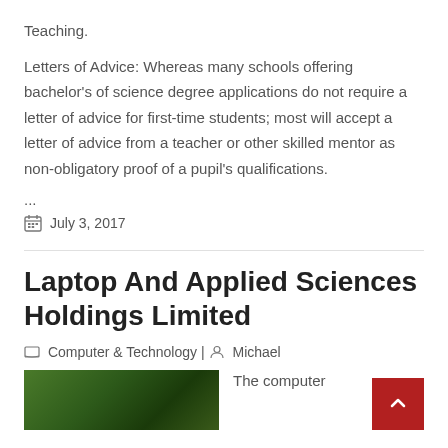Teaching.
Letters of Advice: Whereas many schools offering bachelor's of science degree applications do not require a letter of advice for first-time students; most will accept a letter of advice from a teacher or other skilled mentor as non-obligatory proof of a pupil's qualifications.
...
July 3, 2017
Laptop And Applied Sciences Holdings Limited
Computer & Technology | Michael
The computer